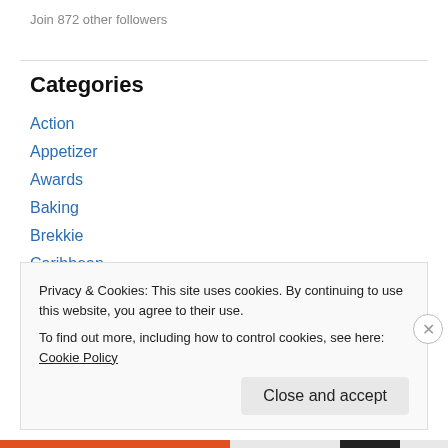Join 872 other followers
Categories
Action
Appetizer
Awards
Baking
Brekkie
Caribbean
Casual
Dessert
Privacy & Cookies: This site uses cookies. By continuing to use this website, you agree to their use.
To find out more, including how to control cookies, see here: Cookie Policy
Close and accept